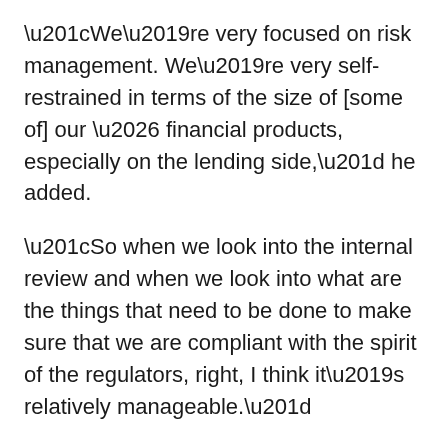“We’re very focused on risk management. We’re very self-restrained in terms of the size of [some of] our … financial products, especially on the lending side,” he added.
“So when we look into the internal review and when we look into what are the things that need to be done to make sure that we are compliant with the spirit of the regulators, right, I think it’s relatively manageable.”
Tencent Music (TME), the company’s US-listed music streaming subsidiary, said this week that Chinese regulators have been paying more attention to it.
On an earnings call, Chief Strategy Officer Tony Yip said, “In recent months, we have received increased